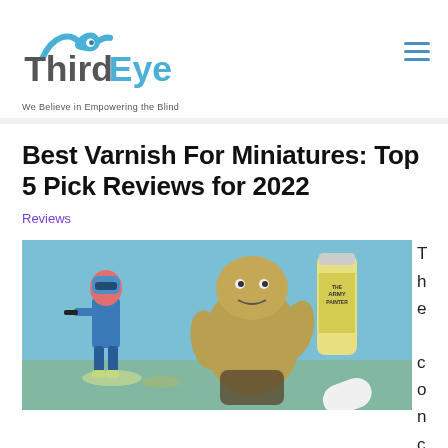[Figure (logo): ThirdEye logo with wave/eye icon in blue and grey text, tagline 'We Believe in Empowering the Blind']
Best Varnish For Miniatures: Top 5 Pick Reviews for 2022
Reviews
[Figure (photo): Photo of two painted miniature figures (a blue sci-fi soldier and a large greenish troll/ogre) next to Army Painter varnish spray cans on a blue background]